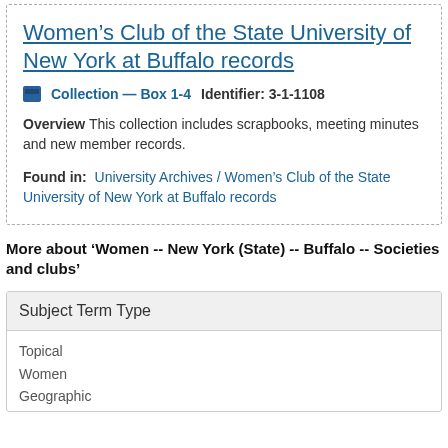Women’s Club of the State University of New York at Buffalo records
Collection — Box 1-4   Identifier: 3-1-1108
Overview This collection includes scrapbooks, meeting minutes and new member records.
Found in: University Archives / Women’s Club of the State University of New York at Buffalo records
More about 'Women -- New York (State) -- Buffalo -- Societies and clubs'
| Subject Term Type |
| --- |
| Topical
Women
Geographic |